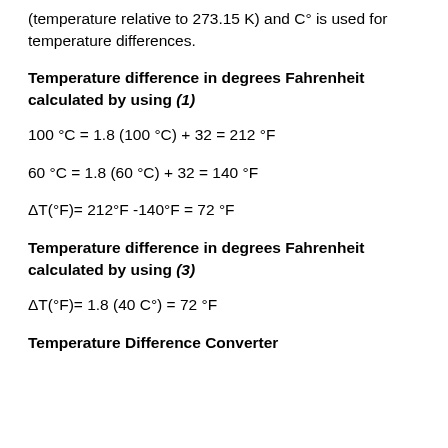(temperature relative to 273.15 K) and C° is used for temperature differences.
Temperature difference in degrees Fahrenheit calculated by using (1)
Temperature difference in degrees Fahrenheit calculated by using (3)
Temperature Difference Converter